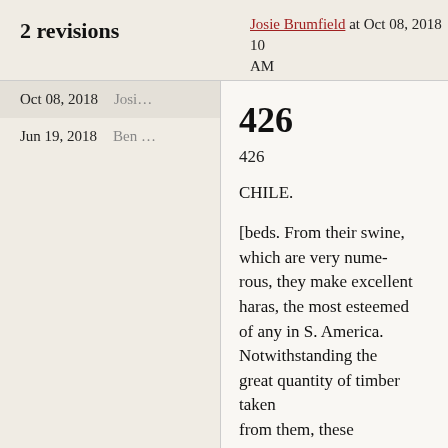Josie Brumfield at Oct 08, 2018 10 AM
2 revisions
| Date | User |
| --- | --- |
| Oct 08, 2018 | Josi... |
| Jun 19, 2018 | Ben ... |
426
426
CHILE.
[beds. From their swine, which are very numerous, they make excellent haras, the most esteemed of any in S. America. Notwithstanding the great quantity of timber taken from them, these islands are covered with thick woods ; and as it